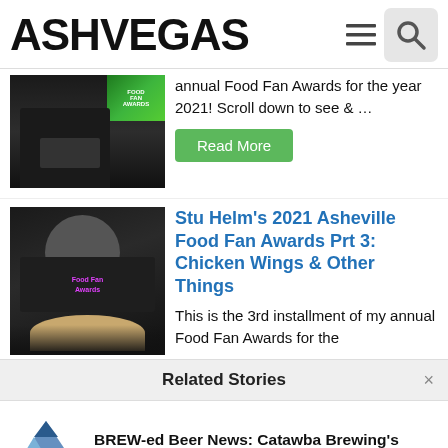ASHVEGAS
[Figure (photo): Person holding a green bag/package, partial view of torso]
annual Food Fan Awards for the year 2021! Scroll down to see & …
Read More
[Figure (photo): Man with beard wearing a Food Fan Awards t-shirt, holding a plate of food]
Stu Helm's 2021 Asheville Food Fan Awards Prt 3: Chicken Wings & Other Things
This is the 3rd installment of my annual Food Fan Awards for the
Related Stories
[Figure (logo): Catawba Brewing Co. logo with mountain graphic]
BREW-ed Beer News: Catawba Brewing's tasting room in Asheville to open Feb. 12